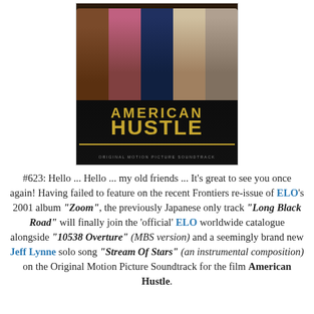[Figure (photo): Album cover for American Hustle Original Motion Picture Soundtrack featuring five cast members on a dark background with gold text reading AMERICAN HUSTLE and subtitle ORIGINAL MOTION PICTURE SOUNDTRACK]
#623: Hello ... Hello ... my old friends ... It's great to see you once again! Having failed to feature on the recent Frontiers re-issue of ELO's 2001 album "Zoom", the previously Japanese only track "Long Black Road" will finally join the 'official' ELO worldwide catalogue alongside "10538 Overture" (MBS version) and a seemingly brand new Jeff Lynne solo song "Stream Of Stars" (an instrumental composition) on the Original Motion Picture Soundtrack for the film American Hustle.